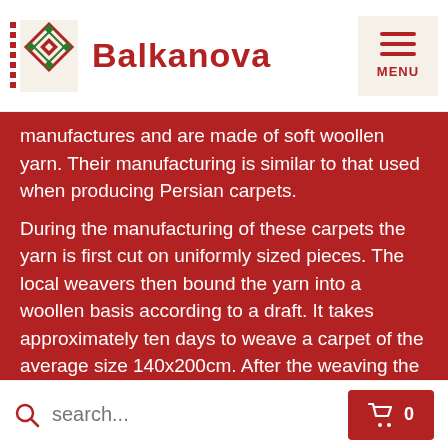Balkanova
manufactures and are made of soft woollen yarn. Their manufacturing is similar to that used when producing Persian carpets.
During the manufacturing of these carpets the yarn is first cut on uniformly sized pieces. The local weavers then bound the yarn into a woollen basis according to a draft. It takes approximately ten days to weave a carpet of the average size 140x200cm. After the weaving the carpets are controlled optically and the yarn is cut so that the final height is 3 cm. The simple aesthetic of these patterns that are in our offer will make cosy and warm traditional and modern interiors and it is suitable for frequented parts of the flat. The woollen carpets are suitable in children...
search...  0